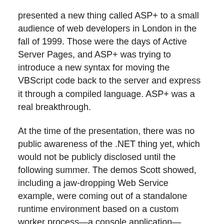presented a new thing called ASP+ to a small audience of web developers in London in the fall of 1999. Those were the days of Active Server Pages, and ASP+ was trying to introduce a new syntax for moving the VBScript code back to the server and express it through a compiled language. ASP+ was a real breakthrough.
At the time of the presentation, there was no public awareness of the .NET thing yet, which would not be publicly disclosed until the following summer. The demos Scott showed, including a jaw-dropping Web Service example, were coming out of a standalone runtime environment based on a custom worker process—a console application— capable of listening on the port 80. The first demos used plain Visual Basic and C++ code against the Win32 API. In a short time, the whole ASP+ thing was quickly consumed by the new .NET Framework and eventually became ASP.NET.